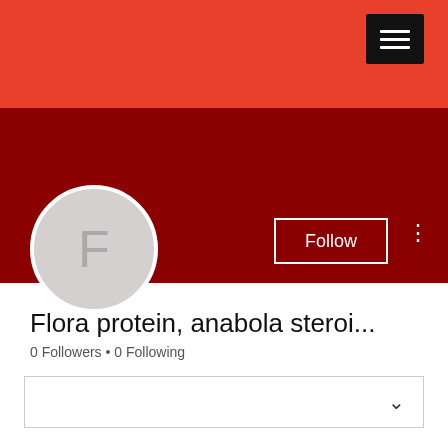[Figure (screenshot): Red banner header with hamburger menu icon in top right]
[Figure (illustration): Dark red secondary banner with Follow button and avatar circle with letter F]
Flora protein, anabola steroi...
0 Followers • 0 Following
[Figure (other): Dropdown box with chevron]
Profile
Join date: May 12, 2022